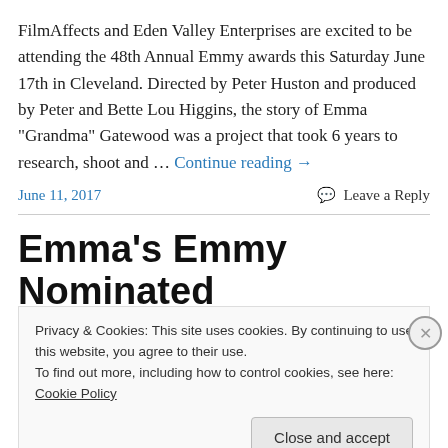FilmAffects and Eden Valley Enterprises are excited to be attending the 48th Annual Emmy awards this Saturday June 17th in Cleveland. Directed by Peter Huston and produced by Peter and Bette Lou Higgins, the story of Emma "Grandma" Gatewood was a project that took 6 years to research, shoot and … Continue reading →
June 11, 2017    Leave a Reply
Emma's Emmy Nominated
Privacy & Cookies: This site uses cookies. By continuing to use this website, you agree to their use.
To find out more, including how to control cookies, see here: Cookie Policy
Close and accept